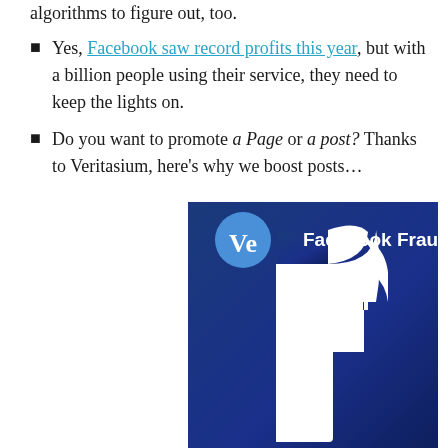algorithms to figure out, too.
Yes, Facebook saw record profits this year, but with a billion people using their service, they need to keep the lights on.
Do you want to promote a Page or a post? Thanks to Veritasium, here's why we boost posts…
[Figure (illustration): Veritasium 'Ve' logo circle in blue with 'Facebook Fraud' text, overlaid on a large Facebook 'f' logo on a dark blue gradient background]